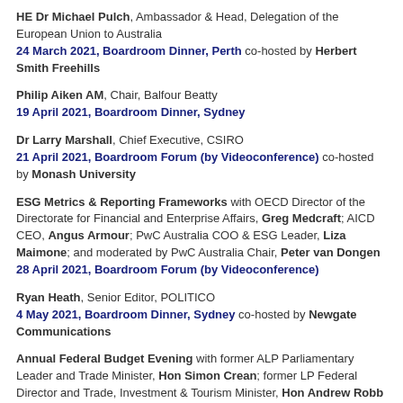HE Dr Michael Pulch, Ambassador & Head, Delegation of the European Union to Australia
24 March 2021, Boardroom Dinner, Perth co-hosted by Herbert Smith Freehills
Philip Aiken AM, Chair, Balfour Beatty
19 April 2021, Boardroom Dinner, Sydney
Dr Larry Marshall, Chief Executive, CSIRO
21 April 2021, Boardroom Forum (by Videoconference) co-hosted by Monash University
ESG Metrics & Reporting Frameworks with OECD Director of the Directorate for Financial and Enterprise Affairs, Greg Medcraft; AICD CEO, Angus Armour; PwC Australia COO & ESG Leader, Liza Maimone; and moderated by PwC Australia Chair, Peter van Dongen
28 April 2021, Boardroom Forum (by Videoconference)
Ryan Heath, Senior Editor, POLITICO
4 May 2021, Boardroom Dinner, Sydney co-hosted by Newgate Communications
Annual Federal Budget Evening with former ALP Parliamentary Leader and Trade Minister, Hon Simon Crean; former LP Federal Director and Trade, Investment & Tourism Minister, Hon Andrew Robb AO; CEPI Chair and former Finance Secretary and NCC Commissioner, Jane Halton AO PSM; former ACT Chief Minister and inaugural ASREE Ombudsman Kate...